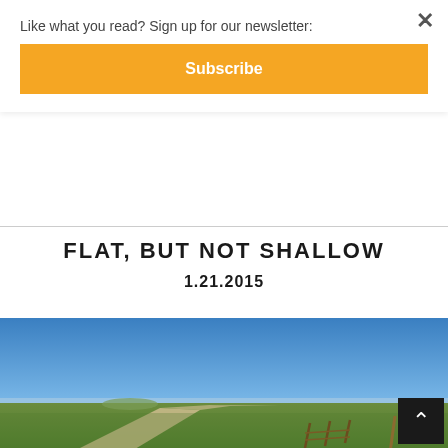Like what you read? Sign up for our newsletter:
Subscribe
FLAT, BUT NOT SHALLOW
1.21.2015
[Figure (photo): Wide-angle landscape photo of flat grassy plains under a clear blue sky. A dirt road runs diagonally from the foreground into the far distance. A wooden fence post is visible in the middle-right of the image. The foreground shows green grass and the front portion of a motorcycle.]